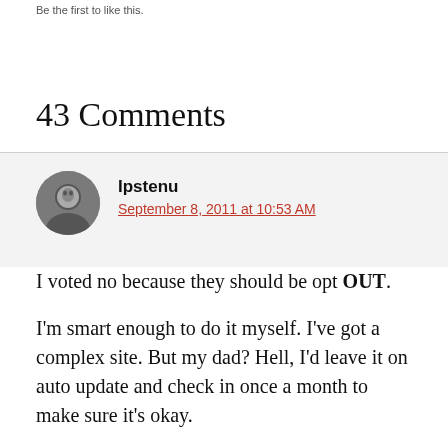Be the first to like this.
43 Comments
Ipstenu
September 8, 2011 at 10:53 AM
I voted no because they should be opt OUT.
I'm smart enough to do it myself. I've got a complex site. But my dad? Hell, I'd leave it on auto update and check in once a month to make sure it's okay.